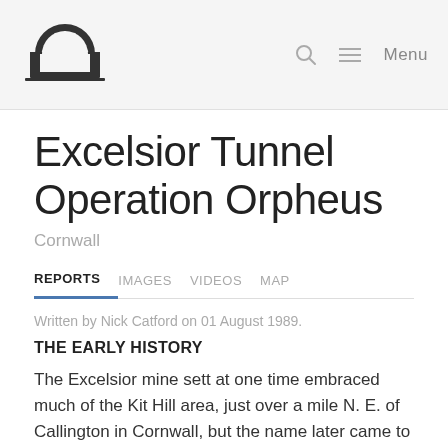Subterranea Britannica logo, Search icon, Menu
Excelsior Tunnel Operation Orpheus
Cornwall
REPORTS  IMAGES  VIDEOS  MAP
Written by Nick Catford on 01 August 1989.
THE EARLY HISTORY
The Excelsior mine sett at one time embraced much of the Kit Hill area, just over a mile N. E. of Callington in Cornwall, but the name later came to be more closely